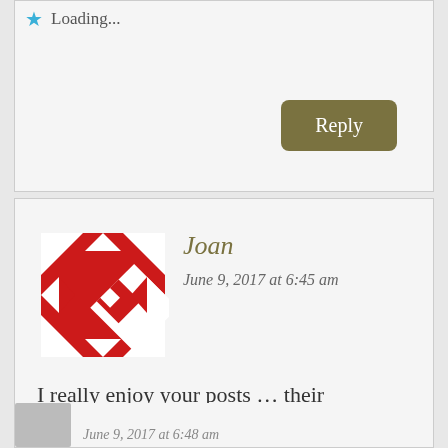Loading...
Reply
Joan
June 9, 2017 at 6:45 am
[Figure (illustration): Red and white geometric quilt-pattern avatar icon for user Joan]
I really enjoy your posts … their creativity and colors! I would love a she shed to paint watercolor pictures in of flowers, flowers, flowers!
Privacy & Cookies: This site uses cookies. By continuing to use this website, you agree to their use.
To find out more, including how to control cookies, see here:
Cookie Policy
Close and accept
June 9, 2017 at 6:48 am